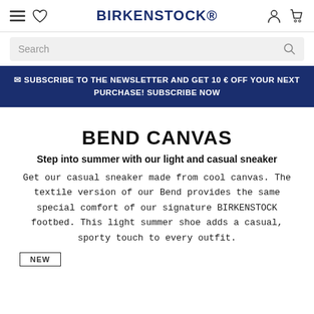BIRKENSTOCK
Search
✉ SUBSCRIBE TO THE NEWSLETTER AND GET 10 € OFF YOUR NEXT PURCHASE! SUBSCRIBE NOW
BEND CANVAS
Step into summer with our light and casual sneaker
Get our casual sneaker made from cool canvas. The textile version of our Bend provides the same special comfort of our signature BIRKENSTOCK footbed. This light summer shoe adds a casual, sporty touch to every outfit.
NEW